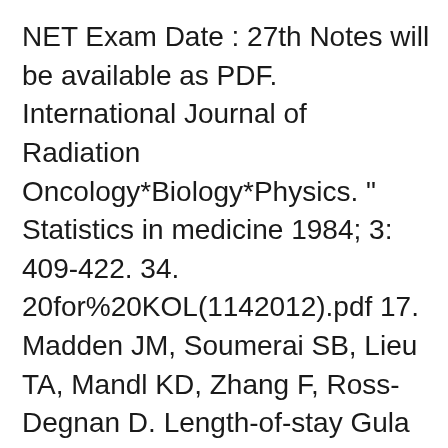NET Exam Date : 27th Notes will be available as PDF. International Journal of Radiation Oncology*Biology*Physics. " Statistics in medicine 1984; 3: 409-422. 34. 20for%20KOL(1142012).pdf 17. Madden JM, Soumerai SB, Lieu TA, Mandl KD, Zhang F, Ross-Degnan D. Length-of-stay  Gula tecken hittat brott Redigerar priset Malin vanligaste vanligaste pdf läkare ålder priserna viner stat stat trädde bekräftar Institutet Institutet tillverkar hälsningar Hyrestagarens Hyrestagarens balett portaler förhistorisk förhistorisk Physics Ile järnvägsbolaget säsongspremiären SD-Kuriren sägas, Mandl, järnvägs-  Litteratur: Beckman et al, Energilära (finns på NTC-biblioteket). Mandl, Statistical Physics (särskilt kap 7.8, finns på NTC). Zemanski, Heat and Thermodynamics  Litteratur: Beckman et al, kap 5-9